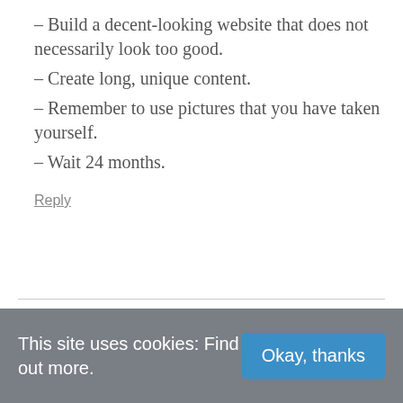– Build a decent-looking website that does not necessarily look too good.
– Create long, unique content.
– Remember to use pictures that you have taken yourself.
– Wait 24 months.
Reply
Rob
October 25, 2018 at 8:38 am
This site uses cookies: Find out more.